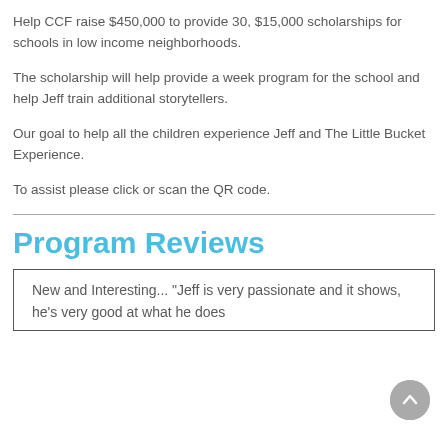Help CCF raise $450,000 to provide 30, $15,000 scholarships for schools in low income neighborhoods.
The scholarship will help provide a week program for the school and help Jeff train additional storytellers.
Our goal to help all the children experience Jeff and The Little Bucket Experience.
To assist please click or scan the QR code.
Program Reviews
New and Interesting... "Jeff is very passionate and it shows, he's very good at what he does